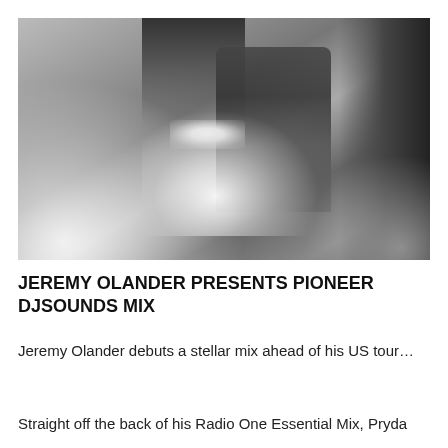[Figure (photo): Black and white photo of a person standing in a smoky/foggy industrial environment, holding what appears to be a light source or flare, with dark structural beams visible in the background.]
JEREMY OLANDER PRESENTS PIONEER DJSOUNDS MIX
Jeremy Olander debuts a stellar mix ahead of his US tour...
Straight off the back of his Radio One Essential Mix, Pryda